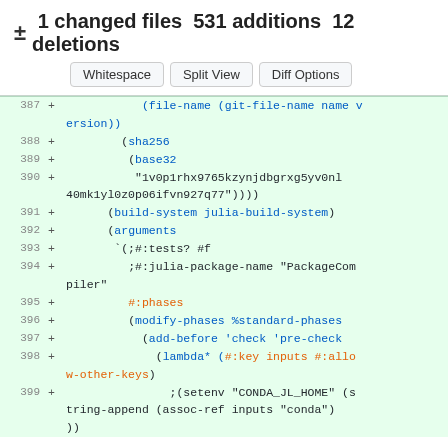± 1 changed files 531 additions 12 deletions
Whitespace | Split View | Diff Options
[Figure (screenshot): Git diff view showing added lines 387-399 of a Guix package definition with Scheme/Lisp code including sha256, base32 hash, build-system, arguments, lambda*, and setenv for CONDA_JL_HOME.]